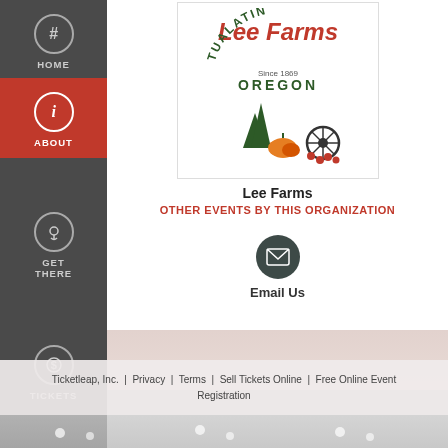[Figure (logo): Lee Farms logo with text 'Lee Farms', 'TUALATIN', 'Since 1869', 'OREGON', pine trees, pumpkins, wagon wheel, and berries]
Lee Farms
OTHER EVENTS BY THIS ORGANIZATION
[Figure (illustration): Email icon inside a dark circular button]
Email Us
Ticketleap, Inc. | Privacy | Terms | Sell Tickets Online | Free Online Event Registration